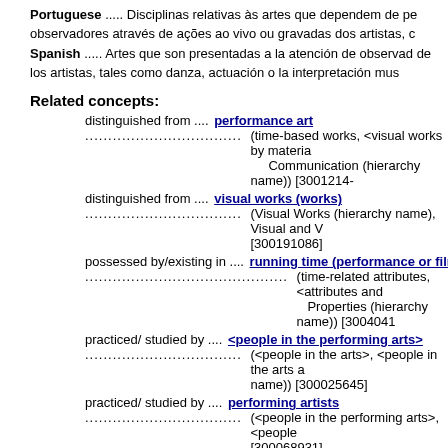Portuguese ..... Disciplinas relativas às artes que dependem de pe observadores através de ações ao vivo ou gravadas dos artistas, c
Spanish ..... Artes que son presentadas a la atención de observad de los artistas, tales como danza, actuación o la interpretación mus
Related concepts:
distinguished from .... performance art
................................... (time-based works, <visual works by materia Communication (hierarchy name)) [3001214-
distinguished from .... visual works (works)
................................... (Visual Works (hierarchy name), Visual and V [300191086]
possessed by/existing in .... running time (performance or film a
........................................... (time-related attributes, <attributes and Properties (hierarchy name)) [3004041
practiced/ studied by .... <people in the performing arts>
................................... (<people in the arts>, <people in the arts a name)) [300025645]
practiced/ studied by .... performing artists
................................... (<people in the performing arts>, <people [300068931]
takes place in .... performing arts centers
......................... (performing arts buildings, performing arts structu [300007113]
Sources and Contributors: